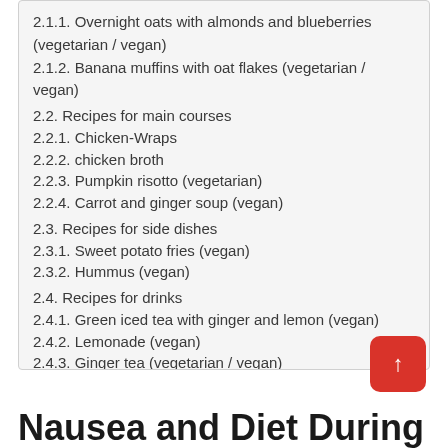2.1.1. Overnight oats with almonds and blueberries (vegetarian / vegan)
2.1.2. Banana muffins with oat flakes (vegetarian / vegan)
2.2. Recipes for main courses
2.2.1. Chicken-Wraps
2.2.2. chicken broth
2.2.3. Pumpkin risotto (vegetarian)
2.2.4. Carrot and ginger soup (vegan)
2.3. Recipes for side dishes
2.3.1. Sweet potato fries (vegan)
2.3.2. Hummus (vegan)
2.4. Recipes for drinks
2.4.1. Green iced tea with ginger and lemon (vegan)
2.4.2. Lemonade (vegan)
2.4.3. Ginger tea (vegetarian / vegan)
3. The best recipes for nausea in pregnancy
Nausea and Diet During